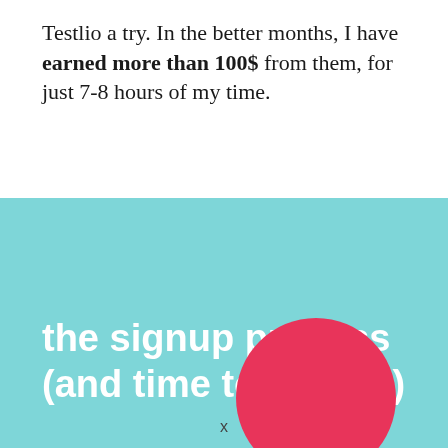Testlio a try. In the better months, I have earned more than 100$ from them, for just 7-8 hours of my time.
[Figure (infographic): Teal/cyan rectangular banner with bold white text reading 'the signup process (and time to testing)' and a partially visible pink/red circle in the bottom-right corner.]
x